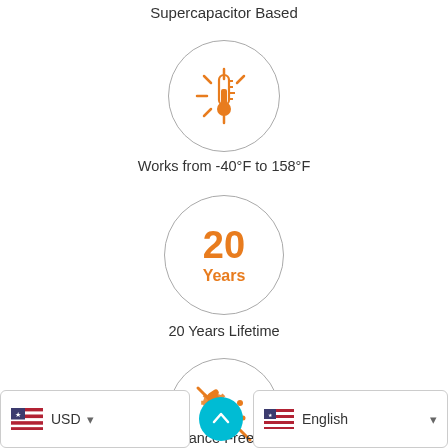Supercapacitor Based
[Figure (illustration): Circle icon with orange temperature/sun symbol indicating wide operating temperature range]
Works from -40°F to 158°F
[Figure (illustration): Circle icon with '20 Years' text in orange indicating product lifetime]
20 Years Lifetime
[Figure (illustration): Circle icon with orange wrench/tools with a slash through it indicating 100% maintenance free]
100% Maintenance Free